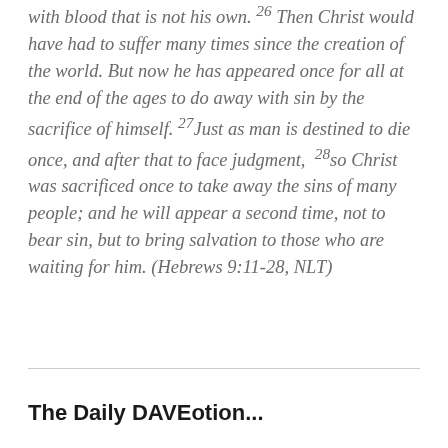with blood that is not his own. 26 Then Christ would have had to suffer many times since the creation of the world. But now he has appeared once for all at the end of the ages to do away with sin by the sacrifice of himself. 27Just as man is destined to die once, and after that to face judgment, 28so Christ was sacrificed once to take away the sins of many people; and he will appear a second time, not to bear sin, but to bring salvation to those who are waiting for him. (Hebrews 9:11-28, NLT)
The Daily DAVEotion...